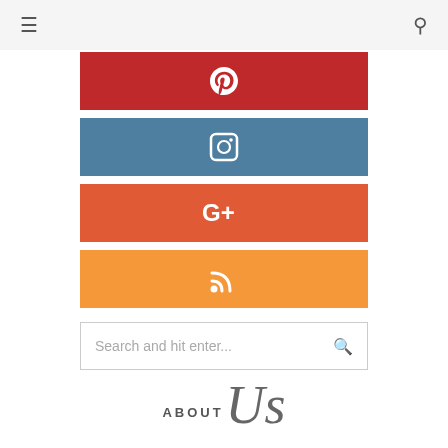Navigation header with hamburger menu and search icon
[Figure (infographic): Pinterest social media button bar - red colored banner with Pinterest P icon in white]
[Figure (infographic): Instagram social media button bar - steel blue colored banner with Instagram camera icon in white]
[Figure (infographic): Google+ social media button bar - orange-red colored banner with G+ icon in white]
[Figure (infographic): RSS feed button bar - orange colored banner with RSS icon in white]
Search and hit enter...
ABOUT Us